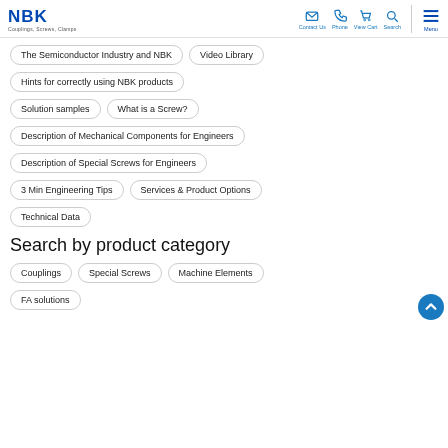NBK Couplings Screws Clamps — Contact Us | Phone | View Cart | Search | Menu
The Semiconductor Industry and NBK
Video Library
Hints for correctly using NBK products
Solution samples
What is a Screw?
Description of Mechanical Components for Engineers
Description of Special Screws for Engineers
3 Min Engineering Tips
Services & Product Options
Technical Data
Search by product category
Couplings
Special Screws
Machine Elements
FA solutions